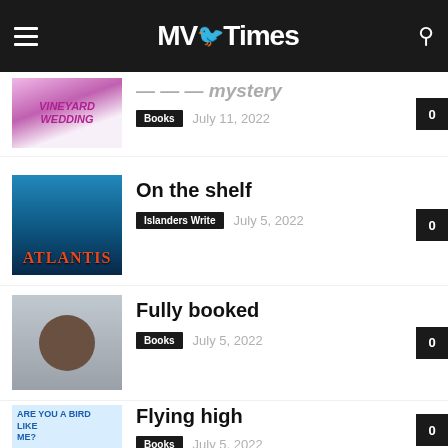MV Times
[partial title] Books  July 11, 2022  0
On the shelf  Islanders Write  July 5, 2022  0
Fully booked  Books  July 5, 2022  0
Flying high  Books  July 5, 2022  0